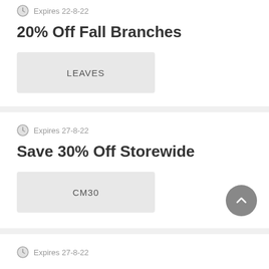Expires 22-8-22
20% Off Fall Branches
LEAVES
Expires 27-8-22
Save 30% Off Storewide
CM30
Expires 27-8-22